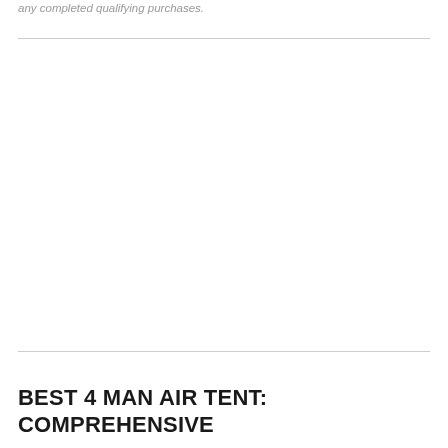any completed qualifying purchases.
[Figure (other): Large blank white image/advertisement area]
BEST 4 MAN AIR TENT: COMPREHENSIVE